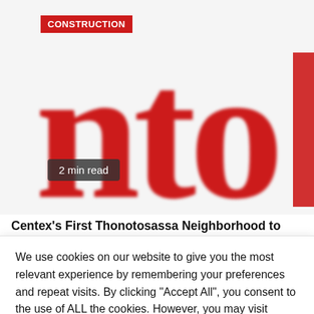[Figure (screenshot): Hero image showing large red letters 'nto' (part of a publication logo) on a white/red background, with a red 'CONSTRUCTION' category badge at top and a '2 min read' badge overlaid at the bottom left of the image.]
Centex's First Thonotosassa Neighborhood to
We use cookies on our website to give you the most relevant experience by remembering your preferences and repeat visits. By clicking "Accept All", you consent to the use of ALL the cookies. However, you may visit "Cookie Settings" to provide a controlled consent.
Cookie Settings | Accept All